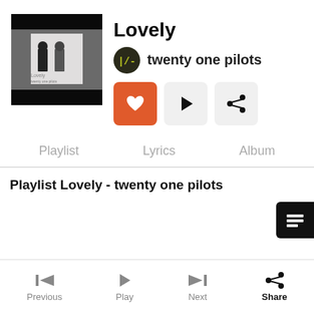[Figure (illustration): Album art for 'Lovely' by twenty one pilots showing two figures in a minimalist style with dark background]
Lovely
twenty one pilots
[Figure (other): Action buttons: heart (favorited, orange), play button, share button]
Playlist   Lyrics   Album
Playlist Lovely - twenty one pilots
Previous   Play   Next   Share